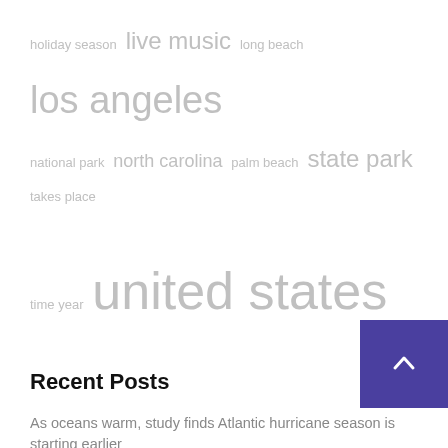[Figure (other): Tag cloud with terms of varying sizes in gray: holiday season, live music, long beach, los angeles, national park, north carolina, palm beach, state park, takes place, time year, united states]
Recent Posts
As oceans warm, study finds Atlantic hurricane season is starting earlier
Disney Announces Return Date for Popular Experiences at EPCOT
Clifftop mansion once owned by holiday camp king Billy Butlin hits the market for £2.7million
Laguna Beach Arts Festival Concert That Girl Can Sing Tuesday, August 16, 2022 – South OC Beaches
Justice Department asks not to release affidavit behind Mar-a-